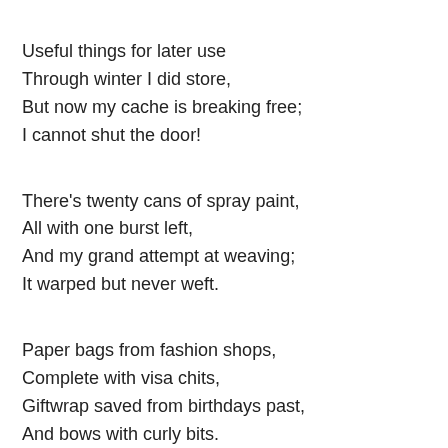Useful things for later use
Through winter I did store,
But now my cache is breaking free;
I cannot shut the door!
There's twenty cans of spray paint,
All with one burst left,
And my grand attempt at weaving;
It warped but never weft.
Paper bags from fashion shops,
Complete with visa chits,
Giftwrap saved from birthdays past,
And bows with curly bits.
There's baby gear as well of course,
And though I've done with that,